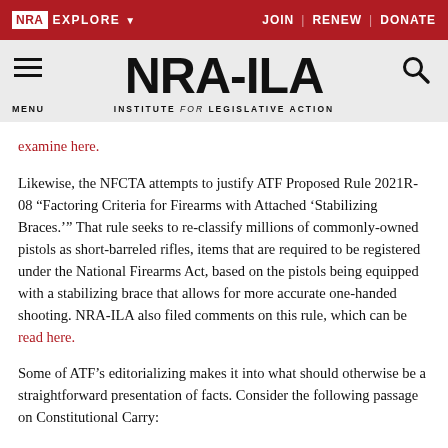NRA EXPLORE | JOIN | RENEW | DONATE
[Figure (logo): NRA-ILA Institute for Legislative Action logo with hamburger menu and search icon on grey background]
examine here.
Likewise, the NFCTA attempts to justify ATF Proposed Rule 2021R-08 “Factoring Criteria for Firearms with Attached ‘Stabilizing Braces.’” That rule seeks to re-classify millions of commonly-owned pistols as short-barreled rifles, items that are required to be registered under the National Firearms Act, based on the pistols being equipped with a stabilizing brace that allows for more accurate one-handed shooting. NRA-ILA also filed comments on this rule, which can be read here.
Some of ATF’s editorializing makes it into what should otherwise be a straightforward presentation of facts. Consider the following passage on Constitutional Carry: